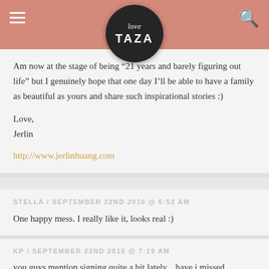love TAZA
Am now at the stage of being “21 years and barely figuring out life” but I genuinely hope that one day I’ll be able to have a family as beautiful as yours and share such inspirational stories :)

Love,
Jerlin

http://www.jerlinhuang.com
STELLA / SEPTEMBER 22ND 2016 @ 6:52 AM
One happy mess. I really like it, looks real :)
KP / SEPTEMBER 22ND 2016 @ 7:19 AM
you guys mention signing quite a bit lately... have i missed